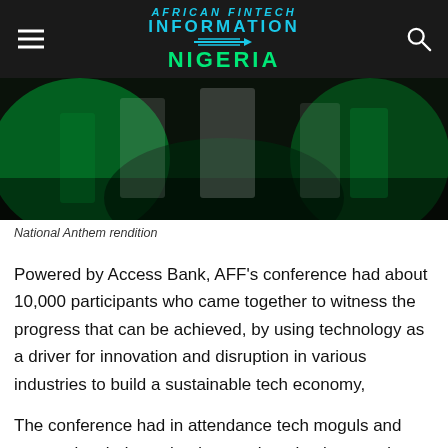INFORMATION NIGERIA
[Figure (photo): Event photo showing people at a conference with green stage lighting, likely the AFF Disrupt Conference 2019]
National Anthem rendition
Powered by Access Bank, AFF’s conference had about 10,000 participants who came together to witness the progress that can be achieved, by using technology as a driver for innovation and disruption in various industries to build a sustainable tech economy,
The conference had in attendance tech moguls and companies, industry leaders, tech enthusiasts and start-ups, venture capitalists and entrepreneurs from the world-over. The 2019 Disrupt Conference featured; a keynote address,